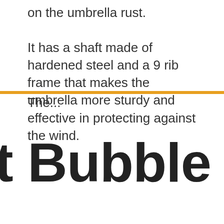on the umbrella rust. It has a shaft made of hardened steel and a 9 rib frame that makes the umbrella more sturdy and effective in protecting against the wind. The...
t Bubble Umbrell